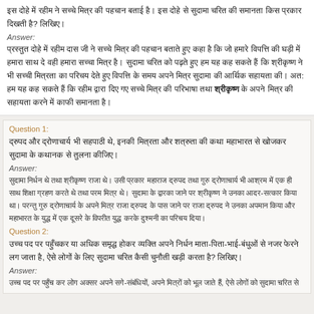इस दोहे में रहीम ने सच्चे मित्र की पहचान बताई है। इस दोहे से सुदामा चरित की समानता किस प्रकार दिखती है? लिखिए।
Answer:
प्रस्तुत दोहे में रहीम दास जी ने सच्चे मित्र की पहचान बताते हुए कहा है कि जो हमारे विपत्ति की घड़ी में हमारा साथ दे वही हमारा सच्चा मित्र है। सुदामा चरित को पढ़ते हुए हम यह कह सकते हैं कि श्रीकृष्ण ने भी सच्ची मित्रता का परिचय देते हुए विपत्ति के समय अपने मित्र सुदामा की आर्थिक सहायता की। अत: हम यह कह सकते हैं कि रहीम द्वारा दिए गए सच्चे मित्र की परिभाषा तथा श्रीकृष्ण के अपने मित्र की सहायता करने में काफी समानता है।
Question 1:
द्रुपद और द्रोणाचार्य भी सहपाठी थे, इनकी मित्रता और शत्रुता की कथा महाभारत से खोजकर सुदामा के कथानक से तुलना कीजिए।
Answer:
सुदामा निर्धन थे तथा श्रीकृष्ण राजा थे। उसी प्रकार महाराज द्रुपद तथा गुरु द्रोणाचार्य भी आश्रम में एक ही साथ शिक्षा ग्रहण करते थे तथा परम मित्र थे। सुदामा के द्वारका जाने पर श्रीकृष्ण ने उनका आदर-सत्कार किया था। परन्तु गुरु द्रोणाचार्य के अपने मित्र राजा द्रुपद के पास जाने पर राजा द्रुपद ने उनका अपमान किया और महाभारत के युद्ध में एक दूसरे के विपरीत युद्ध करके दुश्मनी का परिचय दिया।
Question 2:
उच्च पद पर पहुँचकर या अधिक समृद्ध होकर व्यक्ति अपने निर्धन माता-पिता-भाई-बंधुओं से नजर फेरने लग जाता है, ऐसे लोगों के लिए सुदामा चरित कैसी चुनौती खड़ी करता है? लिखिए।
Answer:
उच्च पद पर पहुँच कर लोग अक्सर अपने सगे-संबंधियों, अपने मित्रों को भूल जाते हैं, ऐसे लोगों को सुदामा चरित से